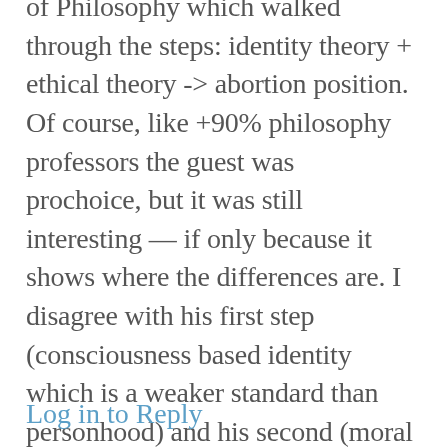of Philosophy which walked through the steps: identity theory + ethical theory -> abortion position. Of course, like +90% philosophy professors the guest was prochoice, but it was still interesting — if only because it shows where the differences are. I disagree with his first step (consciousness based identity which is a weaker standard than personhood) and his second (moral rights lying on a sliding scale of importance depending upon whom they belong to) so it makes sense that we'd disagree about what conclusion to draw. If you're interested, I'll find the link and pass it on 🙂
Log in to Reply